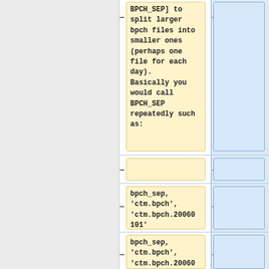BPCH_SEP] to split larger bpch files into smaller ones (perhaps one file for each day). Basically you would call BPCH_SEP repeatedly such as:
bpch_sep, 'ctm.bpch', 'ctm.bpch.20060101'
bpch_sep, 'ctm.bpch', 'ctm.bpch.20060102'